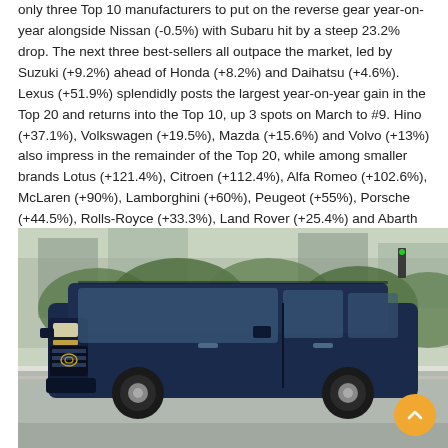only three Top 10 manufacturers to put on the reverse gear year-on-year alongside Nissan (-0.5%) with Subaru hit by a steep 23.2% drop. The next three best-sellers all outpace the market, led by Suzuki (+9.2%) ahead of Honda (+8.2%) and Daihatsu (+4.6%). Lexus (+51.9%) splendidly posts the largest year-on-year gain in the Top 20 and returns into the Top 10, up 3 spots on March to #9. Hino (+37.1%), Volkswagen (+19.5%), Mazda (+15.6%) and Volvo (+13%) also impress in the remainder of the Top 20, while among smaller brands Lotus (+121.4%), Citroen (+112.4%), Alfa Romeo (+102.6%), McLaren (+90%), Lamborghini (+60%), Peugeot (+55%), Porsche (+44.5%), Rolls-Royce (+33.3%), Land Rover (+25.4%) and Abarth (+24.1%) shine.
[Figure (photo): A dark blue Toyota minivan/MPV vehicle photographed on a road with trees and buildings in the background. A circular orange scroll-to-top button appears in the lower right corner.]